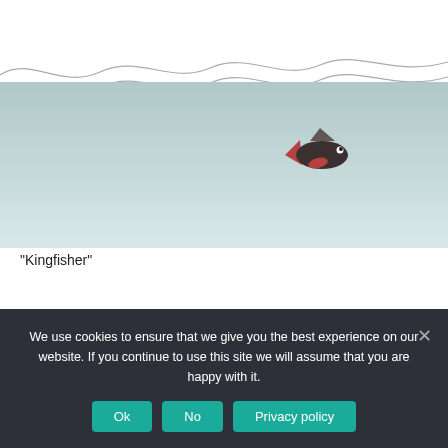[Figure (illustration): Illustration of a water scene: wavy lines at top representing water surface, a gradient blue-grey underwater background below, with a small dark fish with a red/brown tail fin swimming in the water on the right side.]
“Kingfisher”
We use cookies to ensure that we give you the best experience on our website. If you continue to use this site we will assume that you are happy with it.